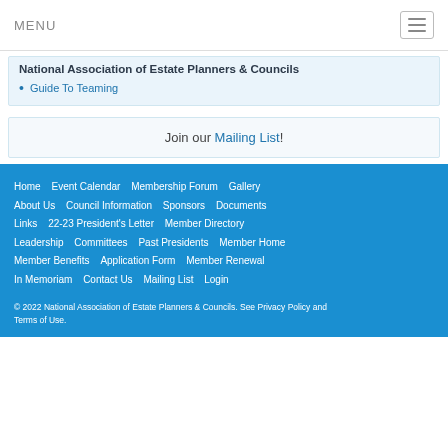MENU
National Association of Estate Planners & Councils
Guide To Teaming
Join our Mailing List!
Home  Event Calendar  Membership Forum  Gallery  About Us  Council Information  Sponsors  Documents  Links  22-23 President's Letter  Member Directory  Leadership  Committees  Past Presidents  Member Home  Member Benefits  Application Form  Member Renewal  In Memoriam  Contact Us  Mailing List  Login  © 2022 National Association of Estate Planners & Councils. See Privacy Policy and Terms of Use.